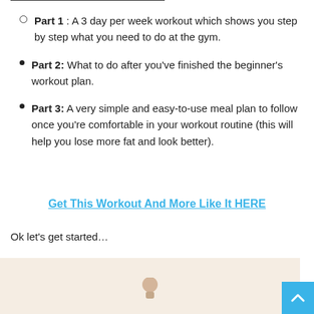Part 1 : A 3 day per week workout which shows you step by step what you need to do at the gym.
Part 2:  What to do after you've finished the beginner's workout plan.
Part 3:  A very simple and easy-to-use meal plan to follow once you're comfortable in your workout routine (this will help you lose more fat and look better).
Get This Workout And More Like It HERE
Ok let's get started…
[Figure (photo): Photo of a person (fitness/gym context), partially visible at bottom of page]